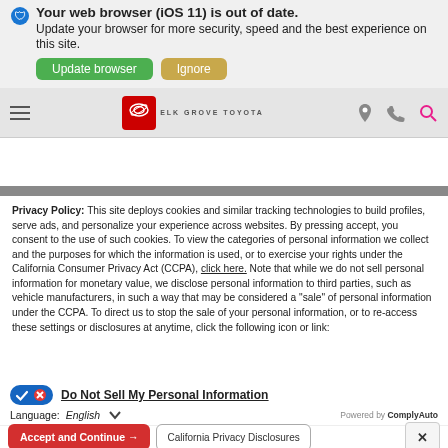[Figure (screenshot): Browser update notification banner showing shield icon, 'Your web browser (iOS 11) is out of date. Update your browser for more security, speed and the best experience on this site.' with green 'Update browser' and tan 'Ignore' buttons.]
[Figure (screenshot): Website header bar for Elk Grove Toyota with hamburger menu icon, Toyota logo, brand name 'ELK GROVE TOYOTA', location pin, phone, and search icons.]
Privacy Policy: This site deploys cookies and similar tracking technologies to build profiles, serve ads, and personalize your experience across websites. By pressing accept, you consent to the use of such cookies. To view the categories of personal information we collect and the purposes for which the information is used, or to exercise your rights under the California Consumer Privacy Act (CCPA), click here. Note that while we do not sell personal information for monetary value, we disclose personal information to third parties, such as vehicle manufacturers, in such a way that may be considered a "sale" of personal information under the CCPA. To direct us to stop the sale of your personal information, or to re-access these settings or disclosures at anytime, click the following icon or link:
Do Not Sell My Personal Information
Language:  English   Powered by ComplyAuto
Accept and Continue →   California Privacy Disclosures   ×